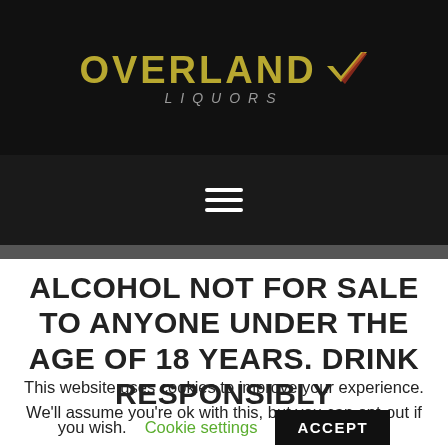[Figure (logo): Overland Liquors logo with gold text and checkmark on black background]
[Figure (other): Hamburger menu icon (three horizontal white lines) on dark background]
ALCOHOL NOT FOR SALE TO ANYONE UNDER THE AGE OF 18 YEARS. DRINK RESPONSIBLY
This website uses cookies to improve your experience. We'll assume you're ok with this, but you can opt-out if you wish. Cookie settings ACCEPT